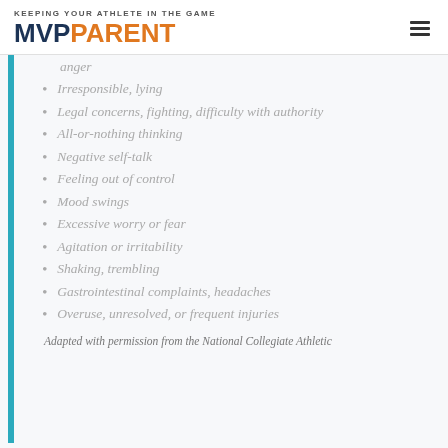KEEPING YOUR ATHLETE IN THE GAME MVP PARENT
anger
Irresponsible, lying
Legal concerns, fighting, difficulty with authority
All-or-nothing thinking
Negative self-talk
Feeling out of control
Mood swings
Excessive worry or fear
Agitation or irritability
Shaking, trembling
Gastrointestinal complaints, headaches
Overuse, unresolved, or frequent injuries
Adapted with permission from the National Collegiate Athletic